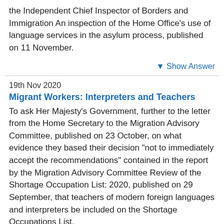the Independent Chief Inspector of Borders and Immigration An inspection of the Home Office's use of language services in the asylum process, published on 11 November.
▼ Show Answer
19th Nov 2020
Migrant Workers: Interpreters and Teachers
To ask Her Majesty's Government, further to the letter from the Home Secretary to the Migration Advisory Committee, published on 23 October, on what evidence they based their decision "not to immediately accept the recommendations" contained in the report by the Migration Advisory Committee Review of the Shortage Occupation List: 2020, published on 29 September, that teachers of modern foreign languages and interpreters be included on the Shortage Occupations List.